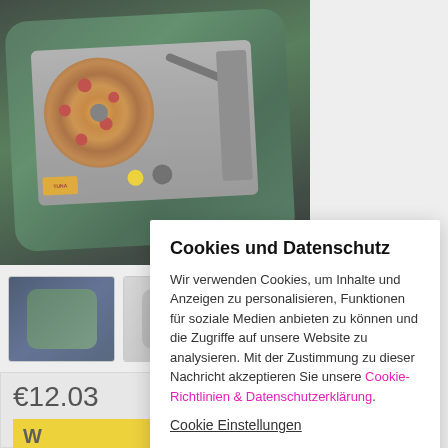[Figure (photo): Product photo of a decorative pillow with a cat DJ turntable pizza design on a space/galaxy background]
[Figure (photo): Thumbnail 1: small product photo of the pillow with colorful space background]
[Figure (photo): Thumbnail 2: small product photo of the pillow with lighter background]
€12.03
W
Cookies und Datenschutz
Wir verwenden Cookies, um Inhalte und Anzeigen zu personalisieren, Funktionen für soziale Medien anbieten zu können und die Zugriffe auf unsere Website zu analysieren. Mit der Zustimmung zu dieser Nachricht akzeptieren Sie unsere Cookie-Richtlinien & Datenschutzerklärung.
Cookie Einstellungen
Alle akzeptieren